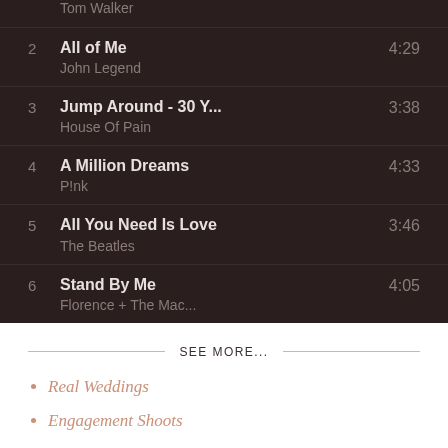2 All of Me 4:29 John Legend
3 Jump Around - 30 Y... 3:38 House Of Pain
4 A Million Dreams 4:33 P!nk
5 All You Need Is Love 3:46 The Beatles
6 Stand By Me 4:05 Florence + The Mac...
SEE MORE...
Real Weddings
Engagement Shoots
Supplier Takeover
The Bridal Edit